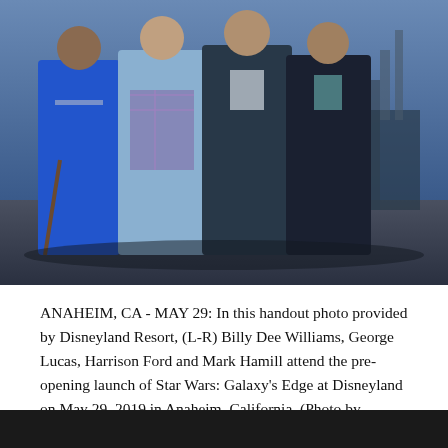[Figure (photo): Group photo of Billy Dee Williams, George Lucas, Harrison Ford and Mark Hamill at an outdoor event, likely at Disneyland's Star Wars: Galaxy's Edge pre-opening, May 29, 2019. Four men standing together, one wearing a blue jacket, one in a light blue blazer with plaid shirt, and others in dark clothing.]
ANAHEIM, CA - MAY 29: In this handout photo provided by Disneyland Resort, (L-R) Billy Dee Williams, George Lucas, Harrison Ford and Mark Hamill attend the pre-opening launch of Star Wars: Galaxy's Edge at Disneyland on May 29, 2019 in Anaheim, California. (Photo by Richard Harbaugh/Disneyland Resort via Getty Images)